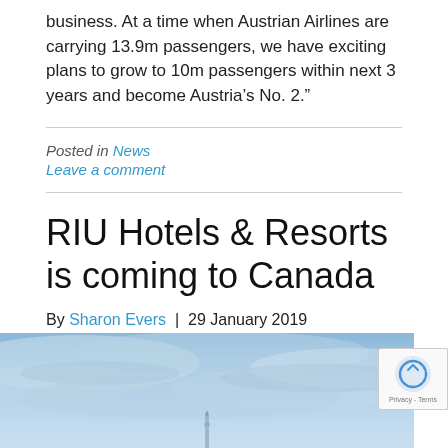business. At a time when Austrian Airlines are carrying 13.9m passengers, we have exciting plans to grow to 10m passengers within next 3 years and become Austria’s No. 2.”
Posted in News
Leave a comment
RIU Hotels & Resorts is coming to Canada
By Sharon Evers  |  29 January 2019
[Figure (photo): Blue sky with clouds, partial view of a tall structure (CN Tower visible at bottom), article header image for RIU Hotels & Resorts coming to Canada]